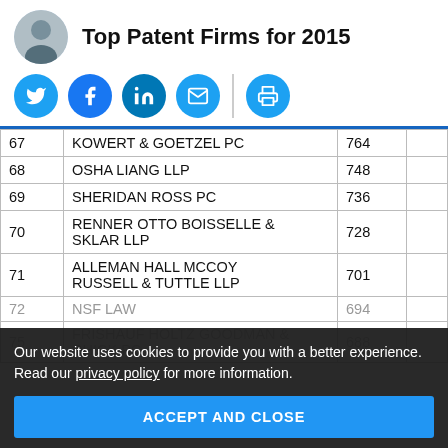Top Patent Firms for 2015
[Figure (illustration): Avatar photo of a man in a suit, circular crop, and social media share icons (Twitter, Facebook, LinkedIn, Email, Print)]
| Rank | Firm Name | Count |  |
| --- | --- | --- | --- |
| 67 | KOWERT & GOETZEL PC | 764 |  |
| 68 | OSHA LIANG LLP | 748 |  |
| 69 | SHERIDAN ROSS PC | 736 |  |
| 70 | RENNER OTTO BOISSELLE & SKLAR LLP | 728 |  |
| 71 | ALLEMAN HALL MCCOY RUSSELL & TUTTLE LLP | 701 |  |
| 72 | NSF LAW | 694 |  |
| 75 | FRISHAUF HOLTZ GOODMAN & CHICK PC | 688 |  |
Our website uses cookies to provide you with a better experience. Read our privacy policy for more information.
ACCEPT AND CLOSE